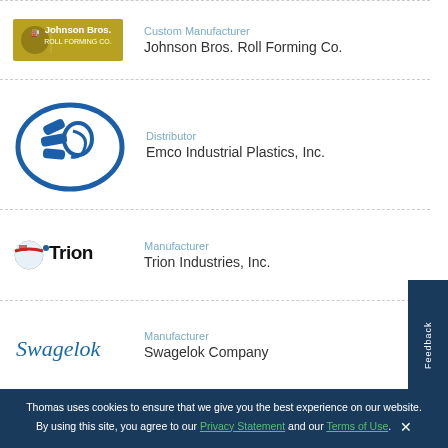[Figure (logo): Johnson Bros. Roll Forming Co. logo — gold/yellow background with company name]
Custom Manufacturer
Johnson Bros. Roll Forming Co.
[Figure (logo): Emco Industrial Plastics Inc. logo — blue abstract figure in oval]
Distributor
Emco Industrial Plastics, Inc.
[Figure (logo): Trion Industries Inc. logo — globe icon with Trion wordmark]
Manufacturer
Trion Industries, Inc.
[Figure (logo): Swagelok Company logo — Swagelok script wordmark]
Manufacturer
Swagelok Company
Related Ebooks Available for Download
Thomas uses cookies to ensure that we give you the best experience on our website. By using this site, you agree to our Privacy Statement and our Terms of Use.